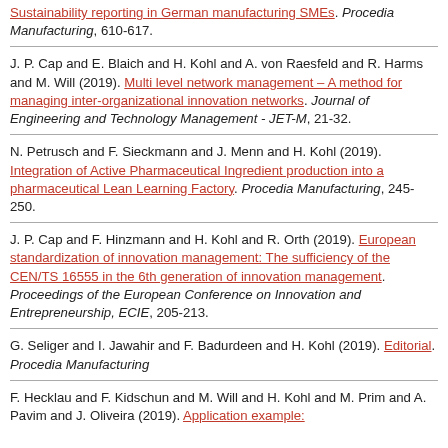Sustainability reporting in German manufacturing SMEs. Procedia Manufacturing, 610-617.
J. P. Cap and E. Blaich and H. Kohl and A. von Raesfeld and R. Harms and M. Will (2019). Multi level network management – A method for managing inter-organizational innovation networks. Journal of Engineering and Technology Management - JET-M, 21-32.
N. Petrusch and F. Sieckmann and J. Menn and H. Kohl (2019). Integration of Active Pharmaceutical Ingredient production into a pharmaceutical Lean Learning Factory. Procedia Manufacturing, 245-250.
J. P. Cap and F. Hinzmann and H. Kohl and R. Orth (2019). European standardization of innovation management: The sufficiency of the CEN/TS 16555 in the 6th generation of innovation management. Proceedings of the European Conference on Innovation and Entrepreneurship, ECIE, 205-213.
G. Seliger and I. Jawahir and F. Badurdeen and H. Kohl (2019). Editorial. Procedia Manufacturing
F. Hecklau and F. Kidschun and M. Will and H. Kohl and M. Prim and A. Pavim and J. Oliveira (2019). Application example: